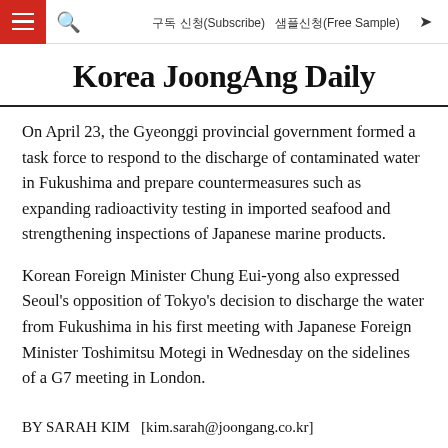구독 신청(Subscribe)  샘플신청(Free Sample)
Korea JoongAng Daily
On April 23, the Gyeonggi provincial government formed a task force to respond to the discharge of contaminated water in Fukushima and prepare countermeasures such as expanding radioactivity testing in imported seafood and strengthening inspections of Japanese marine products.
Korean Foreign Minister Chung Eui-yong also expressed Seoul's opposition of Tokyo's decision to discharge the water from Fukushima in his first meeting with Japanese Foreign Minister Toshimitsu Motegi in Wednesday on the sidelines of a G7 meeting in London.
BY SARAH KIM   [kim.sarah@joongang.co.kr]